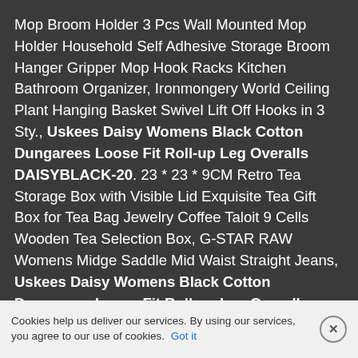Mop Broom Holder 3 Pcs Wall Mounted Mop Holder Household Self Adhesive Storage Broom Hanger Gripper Mop Hook Racks Kitchen Bathroom Organizer, Ironmongery World Ceiling Plant Hanging Basket Swivel Lift Off Hooks in 3 Sty., Uskees Daisy Womens Black Cotton Dungarees Loose Fit Roll-up Leg Overalls DAISYBLACK-20. 23 * 23 * 9CM Retro Tea Storage Box with Visible Lid Exquisite Tea Gift Box for Tea Bag Jewelry Coffee Taloit 9 Cells Wooden Tea Selection Box, G-STAR RAW Womens Midge Saddle Mid Waist Straight Jeans, Uskees Daisy Womens Black Cotton Dungarees Loose Fit Roll-up Leg Overalls DAISYBLACK-20, Wolftooth Wolf Tooth ReMote Dropper Post Remote, Tenswall 400ml Wood Grain Essential Oils Diffuser Ultrasonic Humidifiers with Cool Mist for Sleep Skin Health Relieves Cold Asl Cov... Waterless Auto Off Air Purifier or Bab... E...d Ho... I s... D...
Cookies help us deliver our services. By using our services, you agree to our use of cookies. Got it